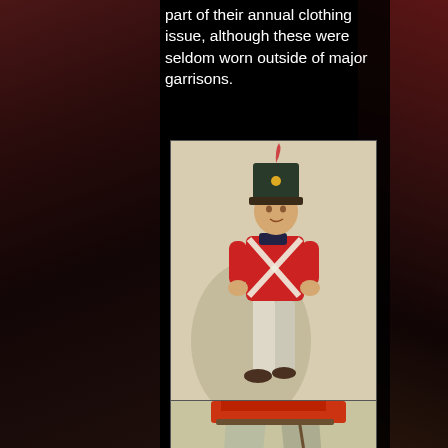part of their annual clothing issue, although these were seldom worn outside of major garrisons.
[Figure (illustration): Illustration of a British soldier in red coat uniform with crossed white belts, grey trousers, and a tall shako hat, in a walking/marching pose.]
[Figure (illustration): Partial illustration showing lower body of a soldier in grey-green trousers with strapping/gaiters, red coat visible at top.]